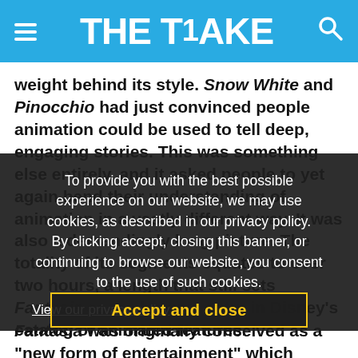THE TAKE
weight behind its style. Snow White and Pinocchio had just convinced people animation could be used to tell deep, engaging stories. This was something else entirely, and it asked people to yet again bend their understanding of animation in a vastly different way. It was also a demandingly long picture. The totality of its segments equates to over two hours, a length that still sets Fantasia as the longest entry in Disney's catalog of animated features.
To provide you with the best possible experience on our website, we may use cookies, as described in our privacy policy. By clicking accept, closing this banner, or continuing to browse our website, you consent to the use of such cookies. View our privacy policy
Accept and close
Fantasia was originally conceived as a "new form of entertainment" which would be re-released each year with updated music and sequences. This idea died with the film's box office failure.